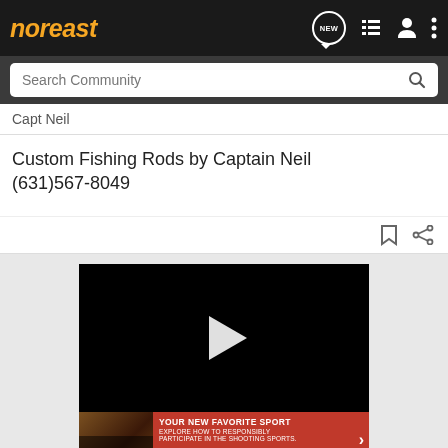noreast
Search Community
Capt Neil
Custom Fishing Rods by Captain Neil
(631)567-8049
[Figure (screenshot): Black video player with white play button triangle in the center]
[Figure (photo): Advertisement banner: YOUR NEW FAVORITE SPORT - EXPLORE HOW TO RESPONSIBLY PARTICIPATE IN THE SHOOTING SPORTS. START HERE! with red background and photo of people on left]